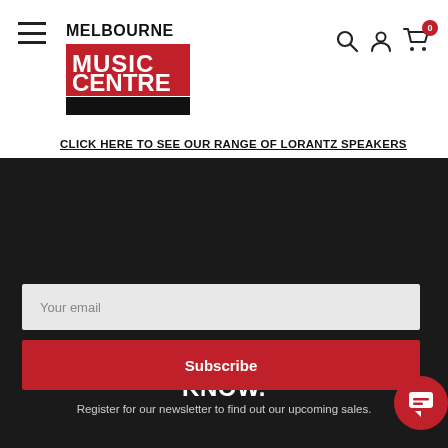[Figure (logo): Melbourne Music Centre logo — black text 'MELBOURNE' above a red rectangle with white bold text 'MUSIC CENTRE']
CLICK HERE TO SEE OUR RANGE OF LORANTZ SPEAKERS
SIGN UP AND BE THE FIRST TO KNOW.
Register for our newsletter to find out our upcoming sales.
Your email
Subscribe
Unsubscribe any time!